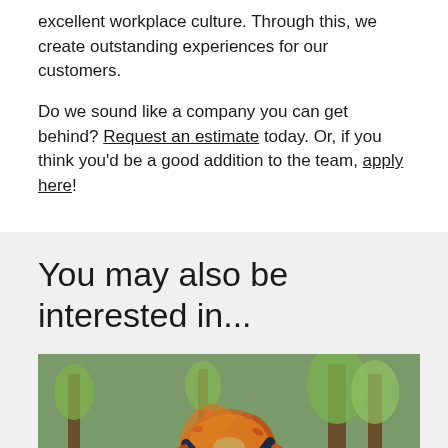excellent workplace culture. Through this, we create outstanding experiences for our customers.
Do we sound like a company you can get behind? Request an estimate today. Or, if you think you'd be a good addition to the team, apply here!
You may also be interested in...
[Figure (photo): A young child tossing autumn leaves into the air in a park with green grass and trees in the background]